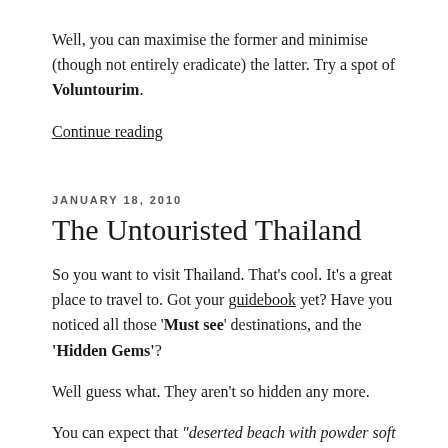Well, you can maximise the former and minimise (though not entirely eradicate) the latter. Try a spot of Voluntourim.
Continue reading
JANUARY 18, 2010
The Untouristed Thailand
So you want to visit Thailand. That's cool. It's a great place to travel to. Got your guidebook yet? Have you noticed all those 'Must see' destinations, and the 'Hidden Gems'?
Well guess what. They aren't so hidden any more.
You can expect that “deserted beach with powder soft